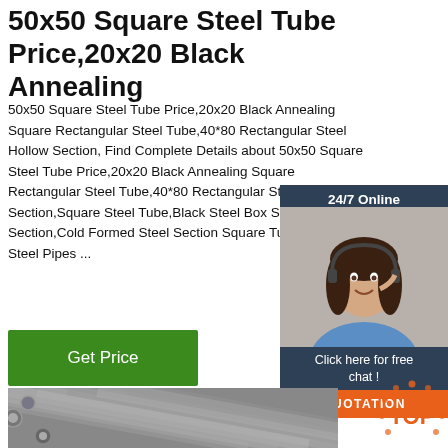50x50 Square Steel Tube Price,20x20 Black Annealing
50x50 Square Steel Tube Price,20x20 Black Annealing Square Rectangular Steel Tube,40*80 Rectangular Steel Hollow Section, Find Complete Details about 50x50 Square Steel Tube Price,20x20 Black Annealing Square Rectangular Steel Tube,40*80 Rectangular Steel Hollow Section,Square Steel Tube,Black Steel Box Square Hollow Section,Cold Formed Steel Section Square Tube from Steel Pipes ...
[Figure (other): Customer service chat widget showing a woman with headset, 24/7 Online text, Click here for free chat!, and QUOTATION button]
[Figure (photo): Green Get Price button]
[Figure (photo): Photo of metal steel tubes/bars stacked together]
[Figure (logo): TOP badge/logo in orange with dots]